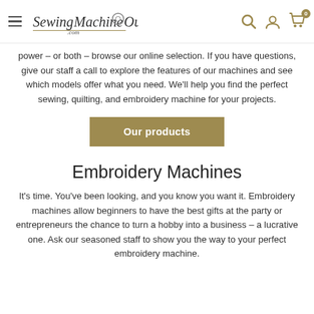SewingMachineOutlet.com — navigation header with hamburger menu, logo, search, account, and cart icons (badge: 0)
power – or both – browse our online selection. If you have questions, give our staff a call to explore the features of our machines and see which models offer what you need. We'll help you find the perfect sewing, quilting, and embroidery machine for your projects.
Our products
Embroidery Machines
It's time. You've been looking, and you know you want it. Embroidery machines allow beginners to have the best gifts at the party or entrepreneurs the chance to turn a hobby into a business – a lucrative one. Ask our seasoned staff to show you the way to your perfect embroidery machine.